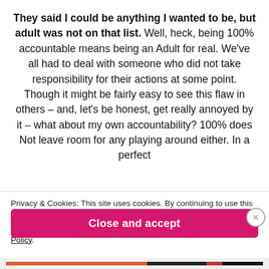They said I could be anything I wanted to be, but adult was not on that list. Well, heck, being 100% accountable means being an Adult for real. We've all had to deal with someone who did not take responsibility for their actions at some point. Though it might be fairly easy to see this flaw in others – and, let's be honest, get really annoyed by it – what about my own accountability? 100% does Not leave room for any playing around either. In a perfect
Privacy & Cookies: This site uses cookies. By continuing to use this website, you agree to their use. To find out more, including how to control cookies, see here: Cookie Policy.
Close and accept